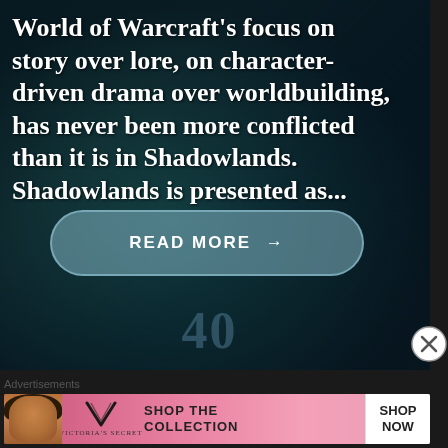[Figure (screenshot): Dark teal/blue game screenshot background with the number 40 visible at the bottom, overlaid with article text and a 'Read More' button]
World of Warcraft's focus on story over lore, on character-driven drama over worldbuilding, has never been more conflicted than it is in Shadowlands. Shadowlands is presented as...
READ MORE →
Advertisements
[Figure (photo): Victoria's Secret advertisement banner featuring a model, the VS logo, 'SHOP THE COLLECTION' text, and a 'SHOP NOW' button]